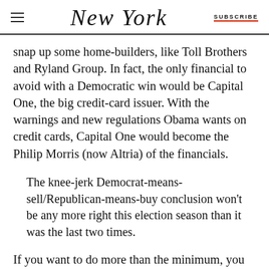NEW YORK  |  SUBSCRIBE
snap up some home-builders, like Toll Brothers and Ryland Group. In fact, the only financial to avoid with a Democratic win would be Capital One, the big credit-card issuer. With the warnings and new regulations Obama wants on credit cards, Capital One would become the Philip Morris (now Altria) of the financials.
The knee-jerk Democrat-means-sell/Republican-means-buy conclusion won't be any more right this election season than it was the last two times.
If you want to do more than the minimum, you will be